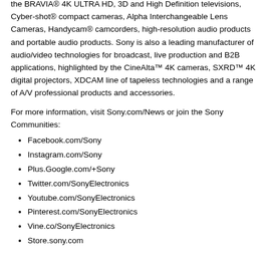the BRAVIA® 4K ULTRA HD, 3D and High Definition televisions, Cyber-shot® compact cameras, Alpha Interchangeable Lens Cameras, Handycam® camcorders, high-resolution audio products and portable audio products. Sony is also a leading manufacturer of audio/video technologies for broadcast, live production and B2B applications, highlighted by the CineAlta™ 4K cameras, SXRD™ 4K digital projectors, XDCAM line of tapeless technologies and a range of A/V professional products and accessories.
For more information, visit Sony.com/News or join the Sony Communities:
Facebook.com/Sony
Instagram.com/Sony
Plus.Google.com/+Sony
Twitter.com/SonyElectronics
Youtube.com/SonyElectronics
Pinterest.com/SonyElectronics
Vine.co/SonyElectronics
Store.sony.com